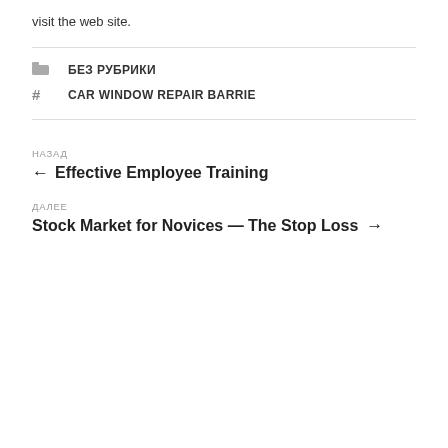visit the web site.
БЕЗ РУБРИКИ
CAR WINDOW REPAIR BARRIE
НАЗАД
← Effective Employee Training
ДАЛЕЕ
Stock Market for Novices — The Stop Loss →